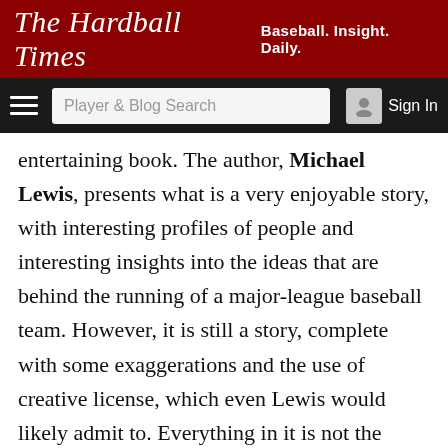The Hardball Times — Baseball. Insight. Daily.
entertaining book. The author, Michael Lewis, presents what is a very enjoyable story, with interesting profiles of people and interesting insights into the ideas that are behind the running of a major-league baseball team. However, it is still a story, complete with some exaggerations and the use of creative license, which even Lewis would likely admit to. Everything in it is not the gospel, it is simply the stuff Lewis, who spent less time with the A's than most probably think, chose to include in the story he told.
With that said, I will defend the idea that Beane is a very good